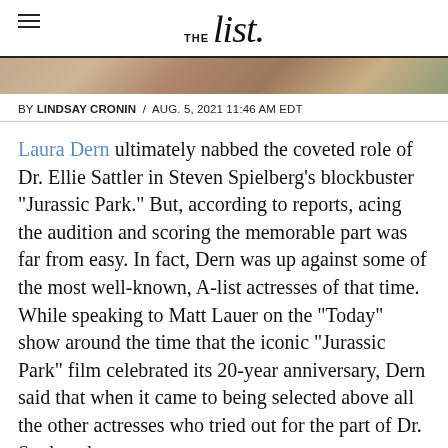THE list
[Figure (photo): Partial photo strip at top of article, showing outdoor scene with green and warm tones]
BY LINDSAY CRONIN / AUG. 5, 2021 11:46 AM EDT
Laura Dern ultimately nabbed the coveted role of Dr. Ellie Sattler in Steven Spielberg's blockbuster "Jurassic Park." But, according to reports, acing the audition and scoring the memorable part was far from easy. In fact, Dern was up against some of the most well-known, A-list actresses of that time. While speaking to Matt Lauer on the "Today" show around the time that the iconic "Jurassic Park" film celebrated its 20-year anniversary, Dern said that when it came to being selected above all the other actresses who tried out for the part of Dr. Sattler, she was...